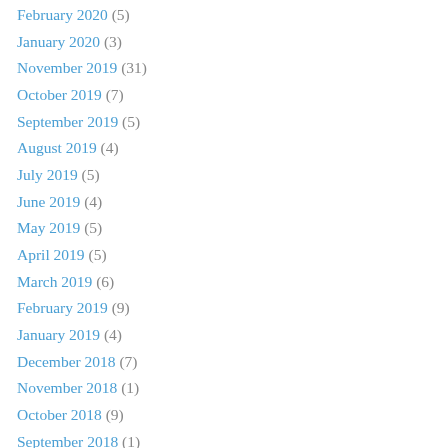February 2020 (5)
January 2020 (3)
November 2019 (31)
October 2019 (7)
September 2019 (5)
August 2019 (4)
July 2019 (5)
June 2019 (4)
May 2019 (5)
April 2019 (5)
March 2019 (6)
February 2019 (9)
January 2019 (4)
December 2018 (7)
November 2018 (1)
October 2018 (9)
September 2018 (1)
August 2018 (5)
July 2018 (2)
June 2018 (9)